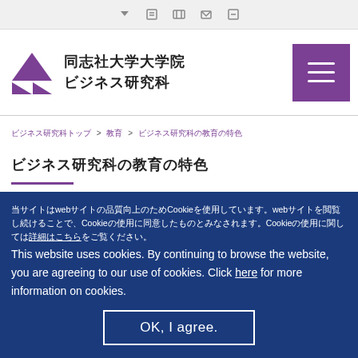同志社大学大学院 ビジネス研究科
ビジネス研究科トップ > 教育 > ビジネス研究科の教育の特色
ビジネス研究科の教育の特色
当サイトはwebサイトの品質向上のためCookieを使用しています。webサイトを閲覧し続けることで、Cookieの使用に同意したものとみなされます。Cookieの使用に関しては詳細はこちらをご覧ください。
This website uses cookies. By continuing to browse the website, you are agreeing to our use of cookies. Click here for more information on cookies.
OK, I agree.